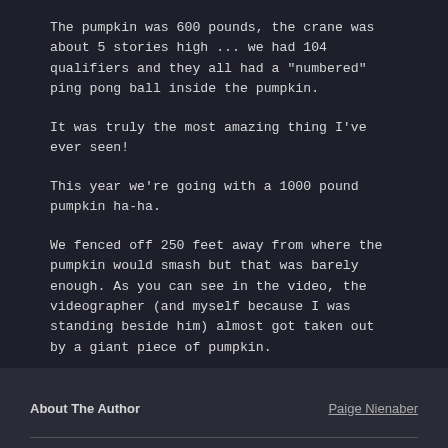The pumpkin was 600 pounds, the crane was about 5 stories high ... we had 104 qualifiers and they all had a "numbered" ping pong ball inside the pumpkin.
It was truly the most amazing thing I've ever seen!
This year we're going with a 1000 pound pumpkin ha-ha.
We fenced off 250 feet away from where the pumpkin would smash but that was barely enough. As you can see in the video, the videographer (and myself because I was standing beside him) almost got taken out by a giant piece of pumpkin.
Whatever crane company you work with will be able to tell you how many feet they need for insurance purposes.
About The Author   Paige Nienaber